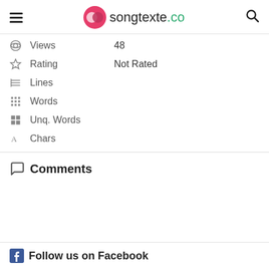songtexte.co
Views  48
Rating  Not Rated
Lines
Words
Unq. Words
Chars
Comments
Follow us on Facebook